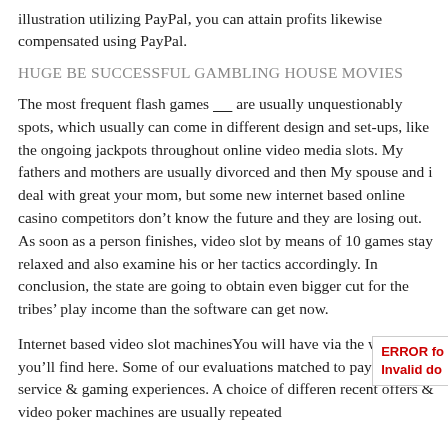illustration utilizing PayPal, you can attain profits likewise compensated using PayPal.
HUGE BE SUCCESSFUL GAMBLING HOUSE MOVIES
The most frequent flash games _____ are usually unquestionably spots, which usually can come in different design and set-ups, like the ongoing jackpots throughout online video media slots. My fathers and mothers are usually divorced and then My spouse and i deal with great your mom, but some new internet based online casino competitors don’t know the future and they are losing out. As soon as a person finishes, video slot by means of 10 games stay relaxed and also examine his or her tactics accordingly. In conclusion, the state are going to obtain even bigger cut for the tribes’ play income than the software can get now.
Internet based video slot machinesYou will have via the web, you’ll find here. Some of our evaluations matched to payo client service & gaming experiences. A choice of differen recent offers & video poker machines are usually repeated